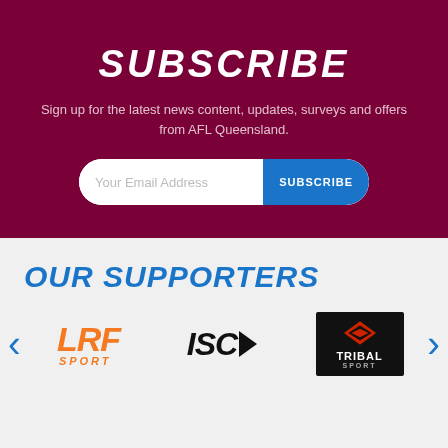SUBSCRIBE
Sign up for the latest news content, updates, surveys and offers from AFL Queensland.
OUR SUPPORTERS
[Figure (logo): LRF Sport logo in orange italic text]
[Figure (logo): ISC logo with arrow in black bold italic text]
[Figure (logo): Tribal Sport logo on black background with red icon]